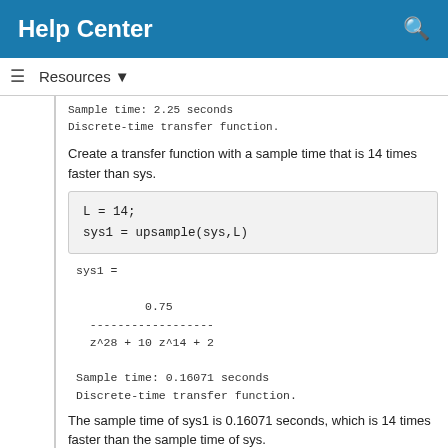Help Center
Resources ▾
Sample time: 2.25 seconds
Discrete-time transfer function.
Create a transfer function with a sample time that is 14 times faster than sys.
L = 14;
sys1 = upsample(sys,L)
sys1 =

          0.75
  ------------------
  z^28 + 10 z^14 + 2

Sample time: 0.16071 seconds
Discrete-time transfer function.
The sample time of sys1 is 0.16071 seconds, which is 14 times faster than the sample time of sys.